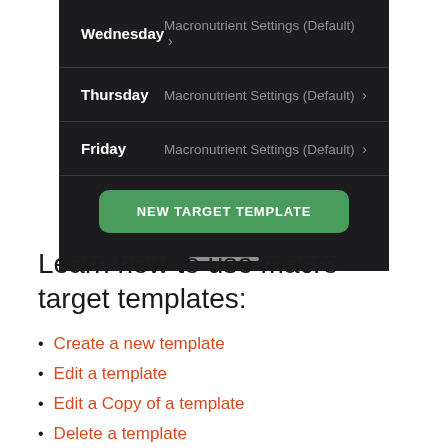[Figure (screenshot): Mobile app screenshot showing a dark-themed weekly macro settings list with Wednesday, Thursday, Friday rows each showing 'Macronutrient Settings (Default) >' and a green 'NEW TARGET TEMPLATE' button at the bottom]
Learn how to use macro target templates:
Create a new template
Edit a template
Edit a Copy of a template
Delete a template
Schedule templates